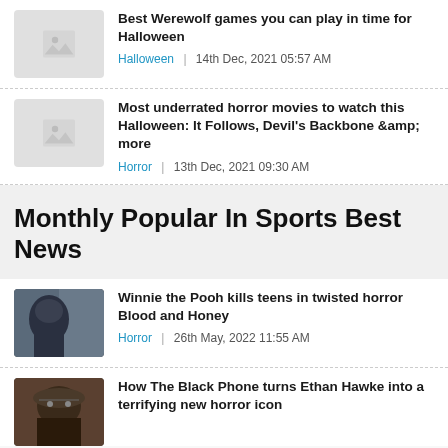[Figure (photo): Placeholder image thumbnail for werewolf article]
Best Werewolf games you can play in time for Halloween
Halloween | 14th Dec, 2021 05:57 AM
[Figure (photo): Placeholder image thumbnail for horror movies article]
Most underrated horror movies to watch this Halloween: It Follows, Devil's Backbone &amp; more
Horror | 13th Dec, 2021 09:30 AM
Monthly Popular In Sports Best News
[Figure (photo): Dark photo of a figure, for Winnie the Pooh horror article]
Winnie the Pooh kills teens in twisted horror Blood and Honey
Horror | 26th May, 2022 11:55 AM
[Figure (photo): Photo of a sinister clown-like character for The Black Phone article]
How The Black Phone turns Ethan Hawke into a terrifying new horror icon